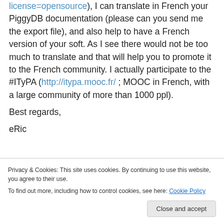), I can translate in French your PiggyDB documentation (please can you send me the export file), and also help to have a French version of your soft. As I see there would not be too much to translate and that will help you to promote it to the French community. I actually participate to the #ITyPA (http://itypa.mooc.fr/ ; MOOC in French, with a large community of more than 1000 ppl).
Best regards,
eRic
Privacy & Cookies: This site uses cookies. By continuing to use this website, you agree to their use. To find out more, including how to control cookies, see here: Cookie Policy